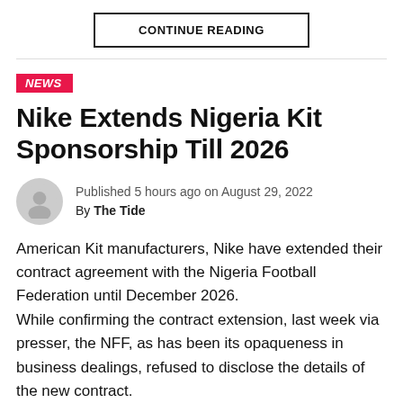CONTINUE READING
NEWS
Nike Extends Nigeria Kit Sponsorship Till 2026
Published 5 hours ago on August 29, 2022
By The Tide
American Kit manufacturers, Nike have extended their contract agreement with the Nigeria Football Federation until December 2026.
While confirming the contract extension, last week via presser, the NFF, as has been its opaqueness in business dealings, refused to disclose the details of the new contract.